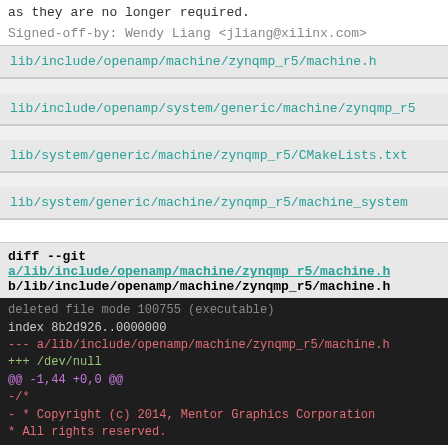as they are no longer required.
Signed-off-by: Wendy Liang <jliang@xilinx.com>
lib/include/openamp/machine/zynqmp_r5/machine.h
lib/include/openamp/system/generic/machine/zynqmp_r5
lib/system/generic/machine/zynqmp_r5/CMakeLists.txt
lib/system/generic/machine/zynqmp_r5/machine_system
diff --git a/lib/include/openamp/machine/zynqmp_r5/machine.h b/lib/include/openamp/machine/zynqmp_r5/machine.h
deleted file mode 100755 (executable)
index 8b2d926..0000000
--- a/lib/include/openamp/machine/zynqmp_r5/machine.h
+++ /dev/null
@@ -1,44 +0,0 @@
-/*
- * Copyright (c) 2014, Mentor Graphics Corporation
- * All rights reserved.